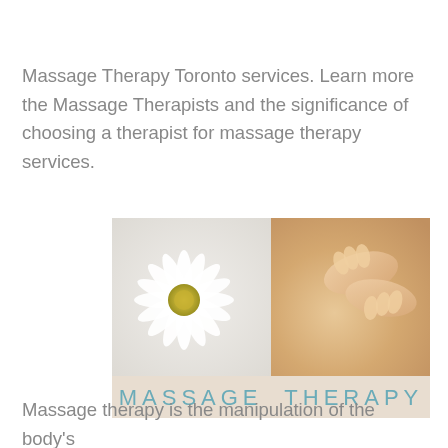Massage Therapy Toronto services. Learn more the Massage Therapists and the significance of choosing a therapist for massage therapy services.
[Figure (photo): Split image: left half shows a white daisy flower on light background, right half shows hands performing a back massage on a person. Below the photos is a beige banner with teal text reading 'MASSAGE THERAPY'.]
Massage therapy is the manipulation of the body's